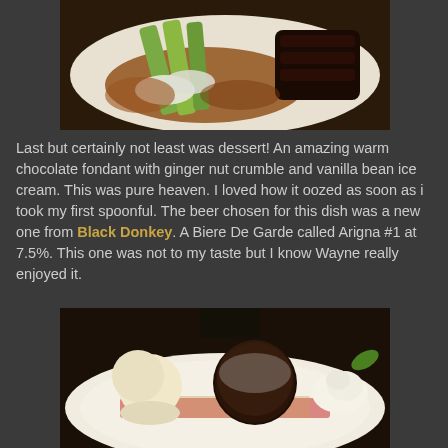[Figure (photo): A plate of food with green vegetables, sauce, and dark meat on a white plate]
Last but certainly not least was dessert! An amazing warm chocolate fondant with ginger nut crumble and vanilla bean ice cream. This was pure heaven. I loved how it oozed as soon as i took my first spoonful. The beer chosen for this dish was a new one from Black Donkey. A Biere De Garde called Arigna #1 at 7.5%. This one was not to my taste but I know Wayne really enjoyed it.
[Figure (photo): A chocolate fondant dessert with powdered sugar on top, served with vanilla ice cream and whipped cream on a white plate]